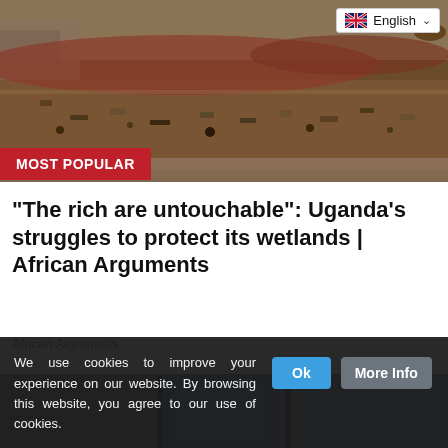[Figure (photo): A large rubbish/garbage dump with debris and waste spread across a wide area, with reddish earth in the background and a cow visible in the upper portion. A 'MOST POPULAR' red badge overlays the lower-left of the image.]
"The rich are untouchable": Uganda's struggles to protect its wetlands | African Arguments
African Arguments
[Figure (photo): Partial view of a second article image showing what appears to be a screen or device with blue lighting.]
We use cookies to improve your experience on our website. By browsing this website, you agree to our use of cookies.